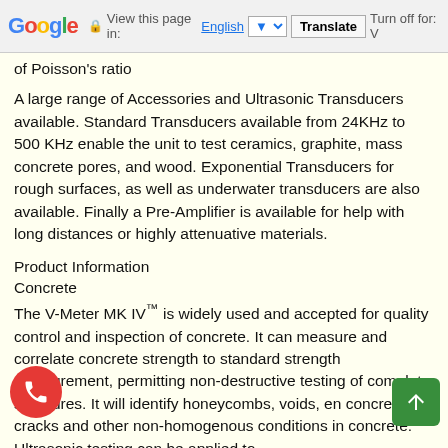Google | View this page in: English | Translate | Turn off for: V
of Poisson's ratio
A large range of Accessories and Ultrasonic Transducers available. Standard Transducers available from 24KHz to 500 KHz enable the unit to test ceramics, graphite, mass concrete pores, and wood. Exponential Transducers for rough surfaces, as well as underwater transducers are also available. Finally a Pre-Amplifier is available for help with long distances or highly attenuative materials.
Product Information
Concrete
The V-Meter MK IV™ is widely used and accepted for quality control and inspection of concrete. It can measure and correlate concrete strength to standard strength measurement, permitting non-destructive testing of complete structures. It will identify honeycombs, voids, en concrete, cracks and other non -homogenous conditions in concrete. Ultrasonic testing can be applied to